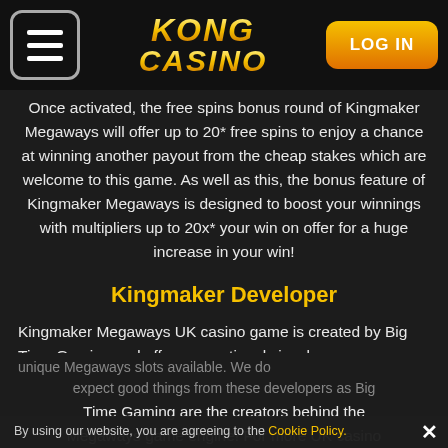[Figure (logo): Kong Casino logo with hamburger menu button on the left and LOG IN button on the right]
Once activated, the free spins bonus round of Kingmaker Megaways will offer up to 20* free spins to enjoy a chance at winning another payout from the cheap stakes which are welcome to this game. As well as this, the bonus feature of Kingmaker Megaways is designed to boost your winnings with multipliers up to 20x* your win on offer for a huge increase in your win!
Kingmaker Developer
Kingmaker Megaways UK casino game is created by Big Time Gaming and offers exceptional visual and bonus features to make this one of the most unique Megaways slots available. We do expect good things from these developers as Big Time Gaming are the creators behind the Megaways game engine! For more UK casino
By using our website, you are agreeing to the Cookie Policy.